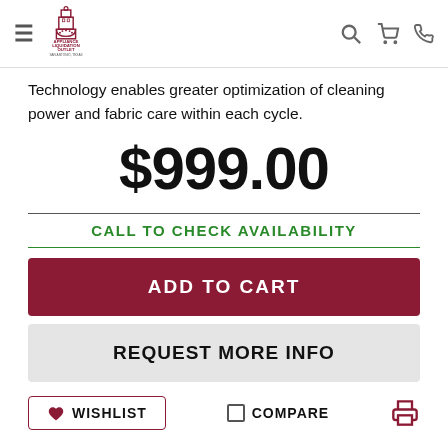Appliance Liquidation Outlet — San Antonio, Texas
Technology enables greater optimization of cleaning power and fabric care within each cycle.
$999.00
CALL TO CHECK AVAILABILITY
ADD TO CART
REQUEST MORE INFO
WISHLIST
COMPARE